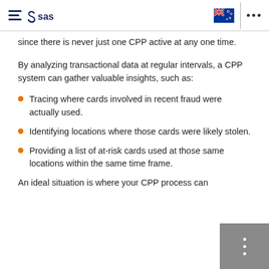SAS logo with hamburger menu, New Zealand flag, and more options
since there is never just one CPP active at any one time.
By analyzing transactional data at regular intervals, a CPP system can gather valuable insights, such as:
Tracing where cards involved in recent fraud were actually used.
Identifying locations where those cards were likely stolen.
Providing a list of at-risk cards used at those same locations within the same time frame.
An ideal situation is where your CPP process can